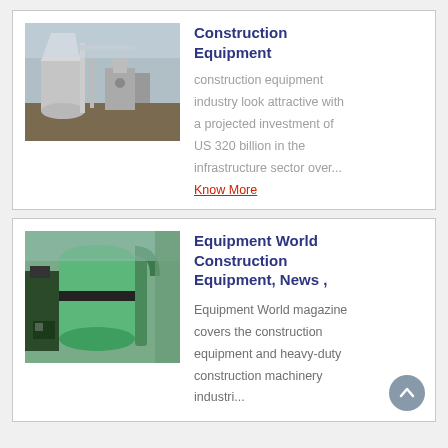[Figure (photo): Industrial construction equipment — white/grey machinery with pipes and industrial components outdoors]
Construction Equipment
construction equipment industry look attractive with a projected investment of US 320 billion in the infrastructure sector over...
Know More
[Figure (photo): Large green industrial equipment — cylindrical machinery with pipes in an industrial setting]
Equipment World Construction Equipment, News ,
Equipment World magazine covers the construction equipment and heavy-duty construction machinery industri...